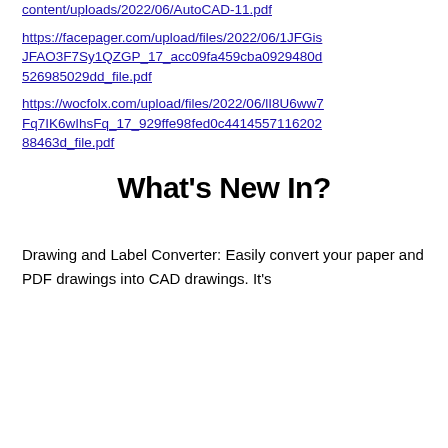content/uploads/2022/06/AutoCAD-11.pdf
https://facepager.com/upload/files/2022/06/1JFGisJFAO3F7Sy1QZGP_17_acc09fa459cba0929480d526985029dd_file.pdf
https://wocfolx.com/upload/files/2022/06/lI8U6ww7Fq7IK6wIhsFq_17_929ffe98fed0c44145571162028 8463d_file.pdf
What’s New In?
Drawing and Label Converter: Easily convert your paper and PDF drawings into CAD drawings. It’s